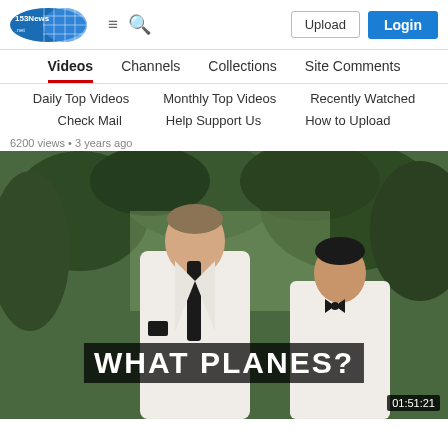153News.net — Upload | Login | hamburger menu | search
Videos | Channels | Collections | Site Comments
Daily Top Videos | Monthly Top Videos | Recently Watched
Check Mail | Help Support Us | How to Upload
6200 views • 3 years ago
[Figure (screenshot): Video thumbnail showing two men in white suits with black ties in an outdoor tropical setting. Large subtitle text reads WHAT PLANES? Duration shown as 01:51:21]